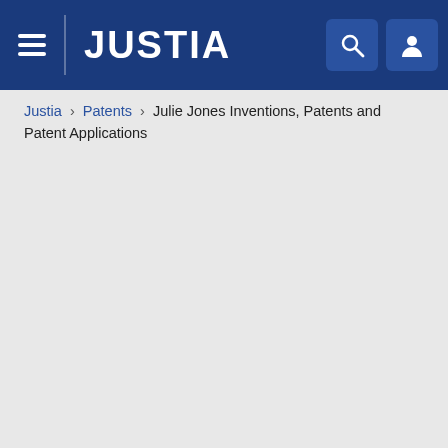JUSTIA
Justia › Patents › Julie Jones Inventions, Patents and Patent Applications